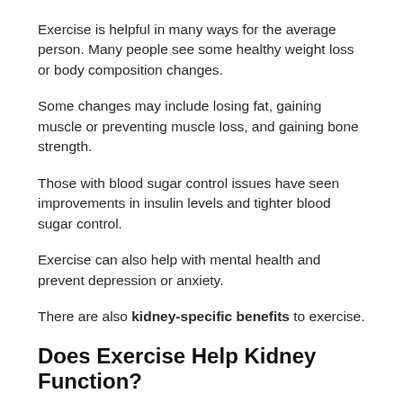Exercise is helpful in many ways for the average person. Many people see some healthy weight loss or body composition changes.
Some changes may include losing fat, gaining muscle or preventing muscle loss, and gaining bone strength.
Those with blood sugar control issues have seen improvements in insulin levels and tighter blood sugar control.
Exercise can also help with mental health and prevent depression or anxiety.
There are also kidney-specific benefits to exercise.
Does Exercise Help Kidney Function?